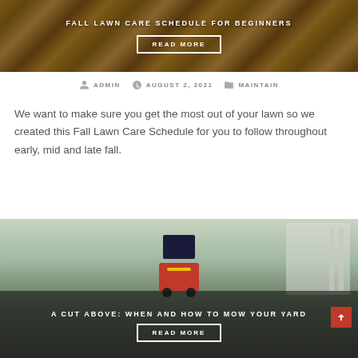[Figure (photo): Background image of fall foliage with dark overlay, showing autumn leaves and lawn. Contains a title text partially obscured and a READ MORE button.]
ADMIN   AUGUST 2, 2021   MAINTAIN
We want to make sure you get the most out of your lawn so we created this Fall Lawn Care Schedule for you to follow throughout early, mid and late fall.
[Figure (photo): Photo of a person using a red lawn mower on a grass lawn in front of a house. Contains the title A CUT ABOVE: WHEN AND HOW TO MOW YOUR YARD and a READ MORE button.]